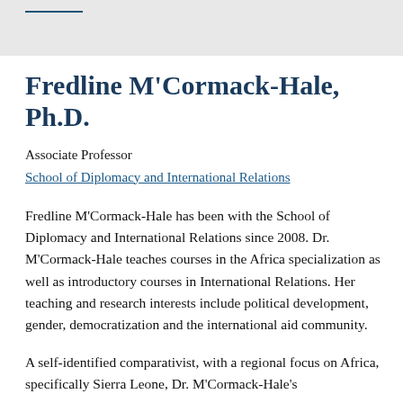Fredline M'Cormack-Hale, Ph.D.
Associate Professor
School of Diplomacy and International Relations
Fredline M'Cormack-Hale has been with the School of Diplomacy and International Relations since 2008. Dr. M'Cormack-Hale teaches courses in the Africa specialization as well as introductory courses in International Relations. Her teaching and research interests include political development, gender, democratization and the international aid community.
A self-identified comparativist, with a regional focus on Africa, specifically Sierra Leone, Dr. M'Cormack-Hale's